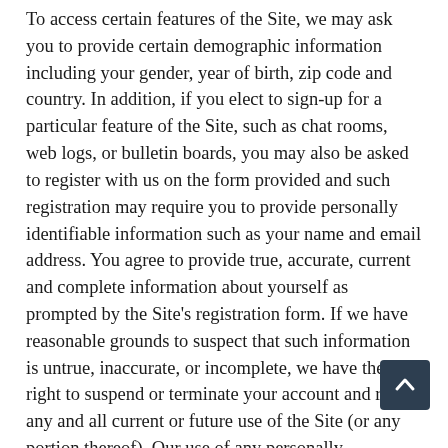To access certain features of the Site, we may ask you to provide certain demographic information including your gender, year of birth, zip code and country. In addition, if you elect to sign-up for a particular feature of the Site, such as chat rooms, web logs, or bulletin boards, you may also be asked to register with us on the form provided and such registration may require you to provide personally identifiable information such as your name and email address. You agree to provide true, accurate, current and complete information about yourself as prompted by the Site's registration form. If we have reasonable grounds to suspect that such information is untrue, inaccurate, or incomplete, we have the right to suspend or terminate your account and refuse any and all current or future use of the Site (or any portion thereof). Our use of any personally identifiable information you provide to us as